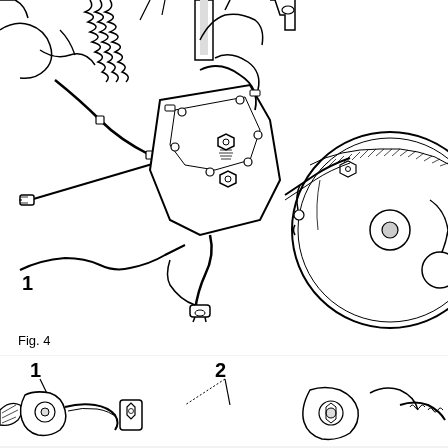[Figure (engineering-diagram): Detailed technical line drawing of an engine compartment showing hoses, brackets, nuts, bolts, and a pulley/belt system. Callout label '1' is shown at bottom-left pointing to a component.]
Fig. 4
[Figure (engineering-diagram): Partial technical line drawing showing a closer view of engine components with callout labels '1' and '2' pointing to specific parts.]